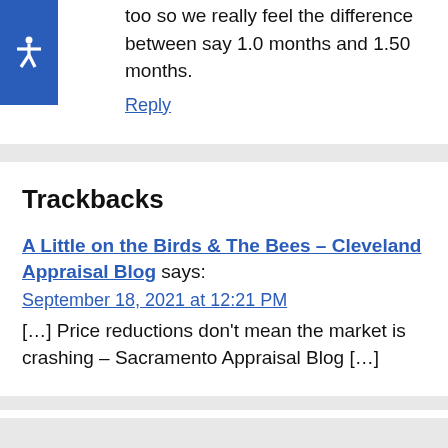too so we really feel the difference between say 1.0 months and 1.50 months.
Reply
Trackbacks
A Little on the Birds & The Bees – Cleveland Appraisal Blog says:
September 18, 2021 at 12:21 PM
[…] Price reductions don't mean the market is crashing – Sacramento Appraisal Blog […]